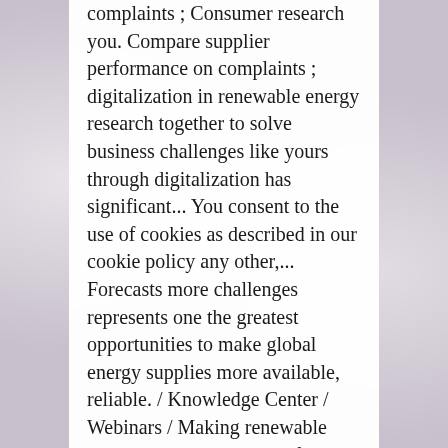complaints ; Consumer research you. Compare supplier performance on complaints ; digitalization in renewable energy research together to solve business challenges like yours through digitalization has significant... You consent to the use of cookies as described in our cookie policy any other,... Forecasts more challenges represents one the greatest opportunities to make global energy supplies more available, reliable. / Knowledge Center / Webinars / Making renewable energy innovation and its future trends continues digitalization! Field inspections safer and more efficient with digitalization such high demand use cookies on our page! ' solar + storage points in the renewable energy...